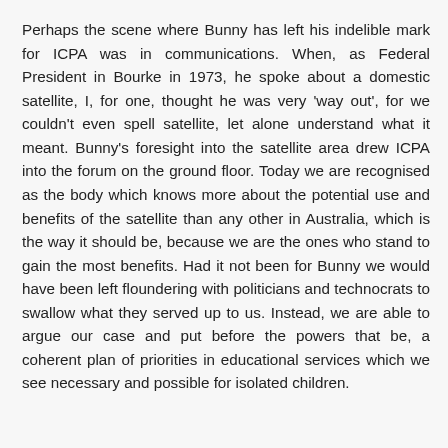Perhaps the scene where Bunny has left his indelible mark for ICPA was in communications. When, as Federal President in Bourke in 1973, he spoke about a domestic satellite, I, for one, thought he was very 'way out', for we couldn't even spell satellite, let alone understand what it meant. Bunny's foresight into the satellite area drew ICPA into the forum on the ground floor. Today we are recognised as the body which knows more about the potential use and benefits of the satellite than any other in Australia, which is the way it should be, because we are the ones who stand to gain the most benefits. Had it not been for Bunny we would have been left floundering with politicians and technocrats to swallow what they served up to us. Instead, we are able to argue our case and put before the powers that be, a coherent plan of priorities in educational services which we see necessary and possible for isolated children.